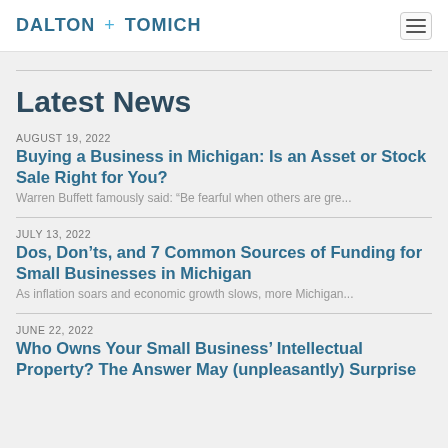DALTON + TOMICH
Latest News
AUGUST 19, 2022
Buying a Business in Michigan: Is an Asset or Stock Sale Right for You?
Warren Buffett famously said: “Be fearful when others are gre...
JULY 13, 2022
Dos, Don’ts, and 7 Common Sources of Funding for Small Businesses in Michigan
As inflation soars and economic growth slows, more Michigan...
JUNE 22, 2022
Who Owns Your Small Business’ Intellectual Property? The Answer May (unpleasantly) Surprise